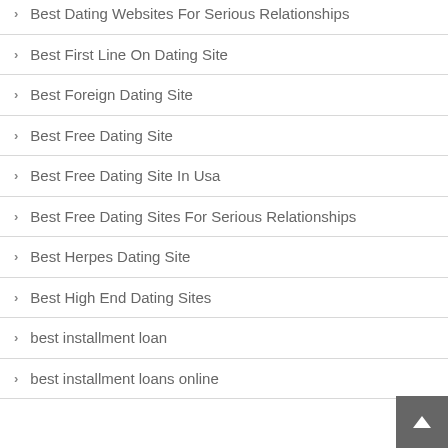Best Dating Websites For Serious Relationships
Best First Line On Dating Site
Best Foreign Dating Site
Best Free Dating Site
Best Free Dating Site In Usa
Best Free Dating Sites For Serious Relationships
Best Herpes Dating Site
Best High End Dating Sites
best installment loan
best installment loans online